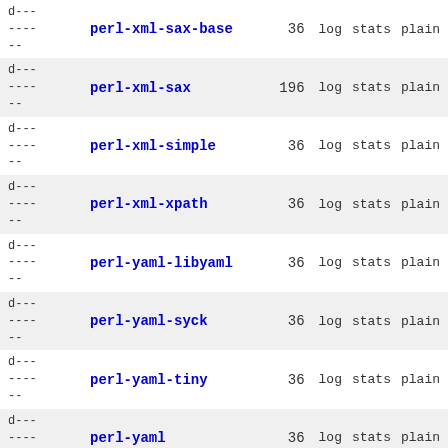d---
---- perl-xml-sax-base 36 log stats plain
d---
---- perl-xml-sax 196 log stats plain
d---
---- perl-xml-simple 36 log stats plain
d---
---- perl-xml-xpath 36 log stats plain
d---
---- perl-yaml-libyaml 36 log stats plain
d---
---- perl-yaml-syck 36 log stats plain
d---
---- perl-yaml-tiny 36 log stats plain
d---
---- perl-yaml 36 log stats plain
d---
---- perl 291 log stats plain
d---
---- pgpool 299 log stats plain